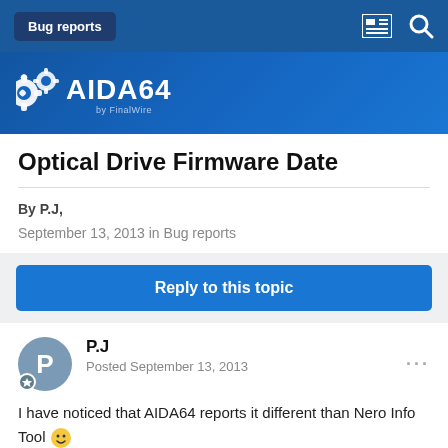Bug reports
[Figure (logo): AIDA64 by FinalWire logo with gear icons on blue gradient background]
Optical Drive Firmware Date
By P.J,
September 13, 2013 in Bug reports
Reply to this topic
P.J
Posted September 13, 2013
I have noticed that AIDA64 reports it different than Nero Info Tool 😁